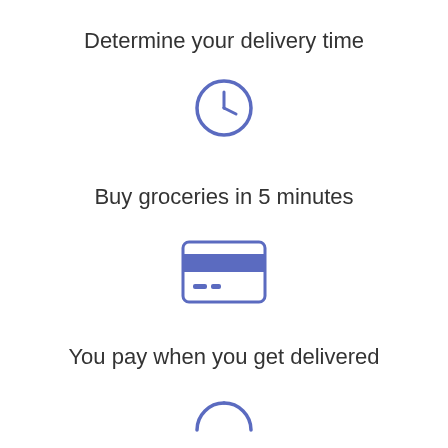Determine your delivery time
[Figure (illustration): Clock icon — blue circle outline with clock hands showing approximately 3 o'clock]
Buy groceries in 5 minutes
[Figure (illustration): Credit card icon — blue outlined rectangle with a blue filled stripe at top and two small dashes at bottom left]
You pay when you get delivered
[Figure (illustration): Partially visible blue circular icon at bottom of page]